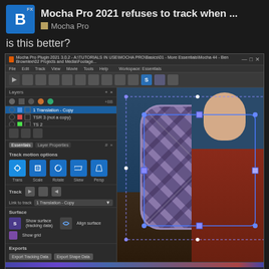Mocha Pro 2021 refuses to track when ...
Mocha Pro
is this better?
[Figure (screenshot): Screenshot of Mocha Pro Plugin 2021 software interface showing tracking layers panel on the left with layers named '1 Translation - Copy', 'TSR 3 (not a copy)', 'TS 2', 'TSR 2', '1 Translation', '2 Scale', '3 Rotation', track motion options panel with Trans/Scale/Rotate/Skew/Persp buttons, Track controls, Link to track dropdown showing '1 Translation - Copy', Surface section with Show surface/tracking data and Align surface options, Show grid option, Exports section with Export Tracking Data and Export Shape Data buttons. Right side shows video footage of a man in a red sweater holding a plaid-patterned cushion/bag with blue tracking overlay markers around it.]